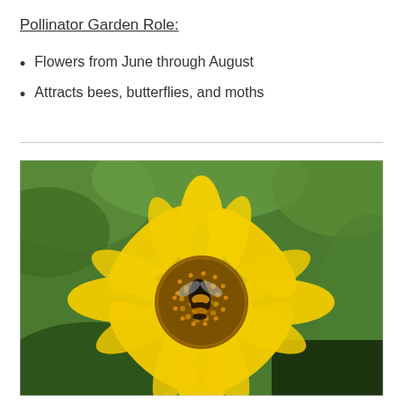Pollinator Garden Role:
Flowers from June through August
Attracts bees, butterflies, and moths
[Figure (photo): Close-up photograph of a yellow sunflower-like flower with a bee (hoverfly) resting on its brown center disc, against a blurred green leafy background.]